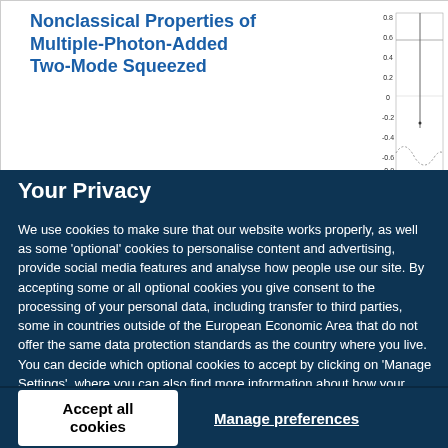Nonclassical Properties of Multiple-Photon-Added Two-Mode Squeezed
[Figure (continuous-plot): A small continuous plot showing a waveform with a vertical line marker, values on y-axis ranging approximately from -0.8 to 0.8, with a dotted baseline curve.]
Your Privacy
We use cookies to make sure that our website works properly, as well as some 'optional' cookies to personalise content and advertising, provide social media features and analyse how people use our site. By accepting some or all optional cookies you give consent to the processing of your personal data, including transfer to third parties, some in countries outside of the European Economic Area that do not offer the same data protection standards as the country where you live. You can decide which optional cookies to accept by clicking on 'Manage Settings', where you can also find more information about how your personal data is processed. Further information can be found in our privacy policy.
Accept all cookies
Manage preferences